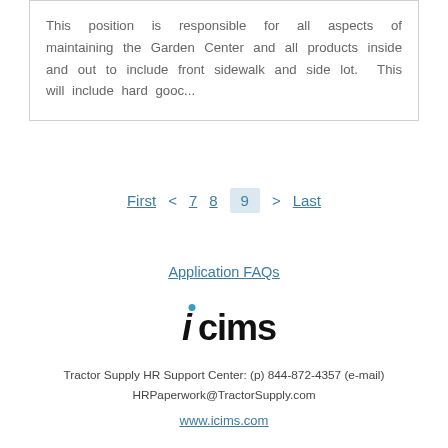This position is responsible for all aspects of maintaining the Garden Center and all products inside and out to include front sidewalk and side lot.  This will include hard gooc...
First < 7 8 9 > Last
Application FAQs
[Figure (logo): iCIMS logo — lowercase italic 'i' with teal dot above it followed by 'cims' in black sans-serif]
Tractor Supply HR Support Center: (p) 844-872-4357 (e-mail)
HRPaperwork@TractorSupply.com
www.icims.com